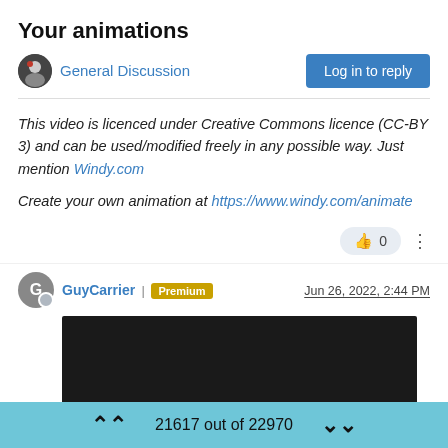Your animations
General Discussion
Log in to reply
This video is licenced under Creative Commons licence (CC-BY 3) and can be used/modified freely in any possible way. Just mention Windy.com
Create your own animation at https://www.windy.com/animate
0
GuyCarrier | Premium   Jun 26, 2022, 2:44 PM
[Figure (screenshot): Black video thumbnail/player area]
21617 out of 22970